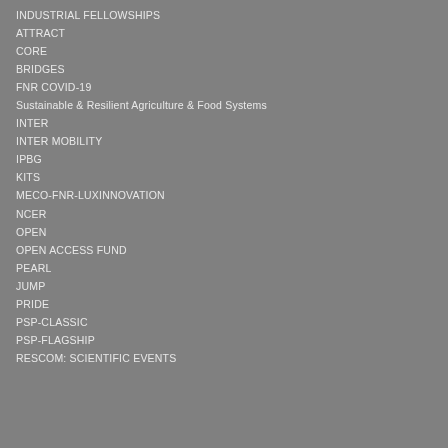INDUSTRIAL FELLOWSHIPS
ATTRACT
CORE
BRIDGES
FNR COVID-19
Sustainable & Resilient Agriculture & Food Systems
INTER
INTER MOBILITY
IPBG
KITS
MECO-FNR-LUXINNOVATION
NCER
OPEN
OPEN ACCESS FUND
PEARL
JUMP
PRIDE
PSP-CLASSIC
PSP-FLAGSHIP
RESCOM: SCIENTIFIC EVENTS